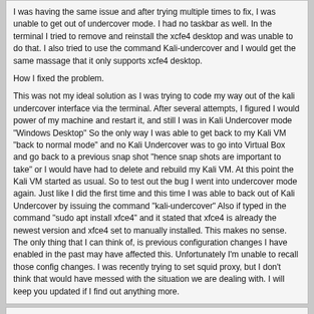I was having the same issue and after trying multiple times to fix, I was unable to get out of undercover mode. I had no taskbar as well. In the terminal I tried to remove and reinstall the xcfe4 desktop and was unable to do that. I also tried to use the command Kali-undercover and I would get the same massage that it only supports xcfe4 desktop.

How I fixed the problem.

This was not my ideal solution as I was trying to code my way out of the kali undercover interface via the terminal. After several attempts, I figured I would power of my machine and restart it, and still I was in Kali Undercover mode "Windows Desktop" So the only way I was able to get back to my Kali VM "back to normal mode" and no Kali Undercover was to go into Virtual Box and go back to a previous snap shot "hence snap shots are important to take" or I would have had to delete and rebuild my Kali VM. At this point the Kali VM started as usual. So to test out the bug I went into undercover mode again. Just like I did the first time and this time I was able to back out of Kali Undercover by issuing the command "kali-undercover" Also if typed in the command "sudo apt install xfce4" and it stated that xfce4 is already the newest version and xfce4 set to manually installed. This makes no sense. The only thing that I can think of, is previous configuration changes I have enabled in the past may have affected this. Unfortunately I'm unable to recall those config changes. I was recently trying to set squid proxy, but I don't think that would have messed with the situation we are dealing with. I will keep you updated if I find out anything more.
lifesgood
Hello, this doesn't work for me, I cannot go back to the kali desktop environnement, I have tried everything. I think the only solution for me is to loose all me work on my default user and to create an other one. Has anyone a working solution for going out of the undercover mode ?

Thank you for your time :)